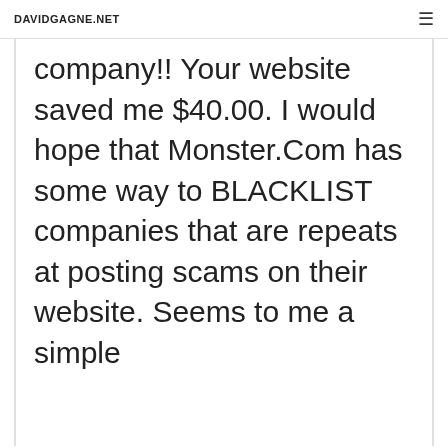DAVIDGAGNE.NET
company!! Your website saved me $40.00. I would hope that Monster.Com has some way to BLACKLIST companies that are repeats at posting scams on their website. Seems to me a simple